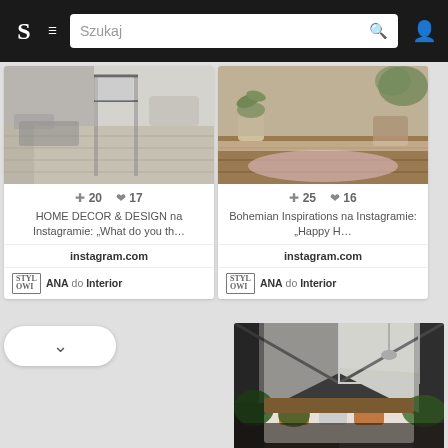[Figure (screenshot): Website navigation bar with logo S, hamburger menu, search box with 'Szukaj' placeholder, search icon, and user profile icon on dark background]
[Figure (screenshot): Card showing interior room photo in black and white with wooden floor and glass partition. Stats: +20 saves, 17 likes. Title: HOME DECOR & DESIGN na Instagramie: "What do you th…". Source: instagramm.com. Added by ANA to Interior board.]
[Figure (screenshot): Card showing bohemian bedroom with plants, pink rug, wooden tones. Stats: +25 saves, 16 likes. Title: Bohemian Inspirations na Instagramie: "Happy H…". Source: instagram.com. Added by ANA to Interior board.]
[Figure (screenshot): Large partial image of attic bedroom with skylights, brick wall, plants, and wooden headboard with orange pillows.]